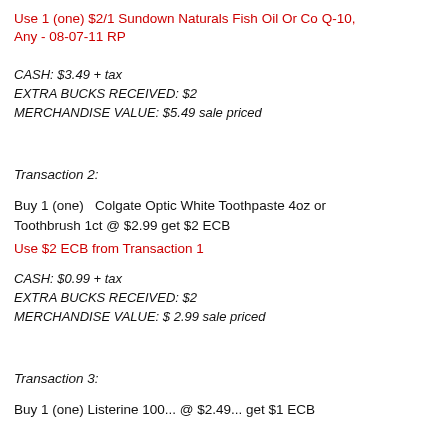Use 1 (one) $2/1 Sundown Naturals Fish Oil Or Co Q-10, Any - 08-07-11 RP
CASH:  $3.49  + tax
EXTRA BUCKS RECEIVED:  $2
MERCHANDISE VALUE:  $5.49 sale priced
Transaction 2:
Buy 1 (one)   Colgate Optic White Toothpaste 4oz or Toothbrush 1ct @ $2.99 get $2 ECB
Use $2 ECB from Transaction 1
CASH:  $0.99   + tax
EXTRA BUCKS RECEIVED:  $2
MERCHANDISE VALUE:  $ 2.99 sale priced
Transaction 3:
Buy 1 (one) Listerine 100... @ $2.49... get $1 ECB